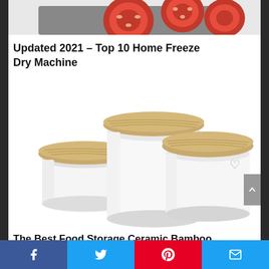[Figure (photo): Partial top image showing sliced tomatoes on a tray, cropped at top of page]
Updated 2021 – Top 10 Home Freeze Dry Machine
[Figure (photo): Three white ceramic canisters with wooden bamboo lids, different sizes, arranged in a group on white background]
The Best Food Storage Ceramic Bamboo
Facebook | Twitter | Pinterest | Email social share bar